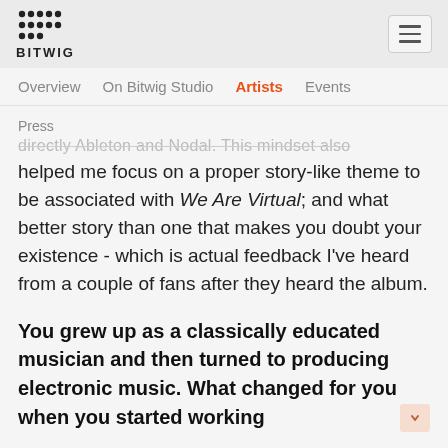BITWIG
Overview  On Bitwig Studio  Artists  Events
Press
helped me focus on a proper story-like theme to be associated with We Are Virtual; and what better story than one that makes you doubt your existence - which is actual feedback I've heard from a couple of fans after they heard the album.
You grew up as a classically educated musician and then turned to producing electronic music. What changed for you when you started working